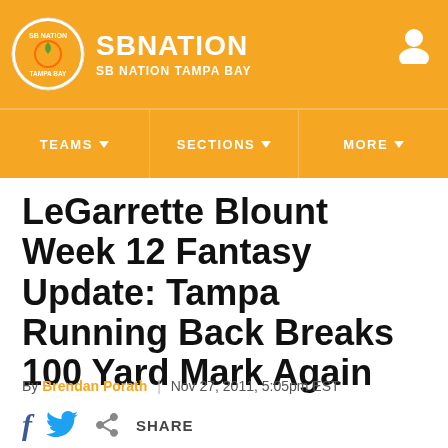SB NATION / SB NATION TAMPA BAY
[Figure (logo): SB Nation Tampa Bay circular logo with orange background]
LeGarrette Blount Week 12 Fantasy Update: Tampa Running Back Breaks 100 Yard Mark Again
By Brendan Porath | Nov 27, 2011, 5:05pm EST
SHARE